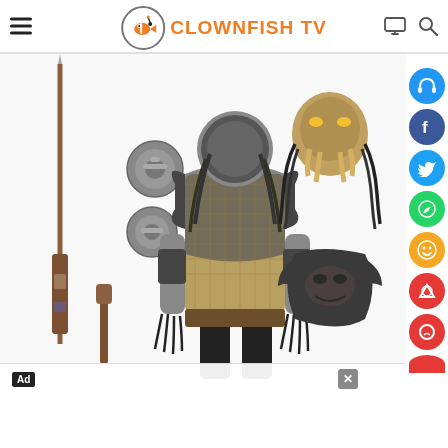Clownfish TV
[Figure (photo): NECA Predator action figure with accessories including spear, two metal discs, hand blaster, Predator mask/head piece, and chest armor piece, displayed on white background. A social media sidebar with headphones, Facebook, Twitter, WhatsApp, emoji, and other icons is visible on the right.]
Ad